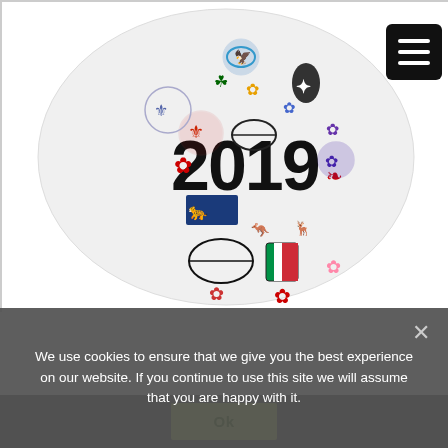[Figure (photo): A large white rugby ball-shaped object decorated with colorful national team logos and the number '2019', displayed against a white background. Logos include various rugby union team emblems from nations such as Japan, New Zealand, England, Ireland, Wales, Australia, South Africa, France, Fiji, Scotland, Italy, and others. The '2019' text is prominently displayed in large bold black font at the center of the ball.]
We use cookies to ensure that we give you the best experience on our website. If you continue to use this site we will assume that you are happy with it.
Ok